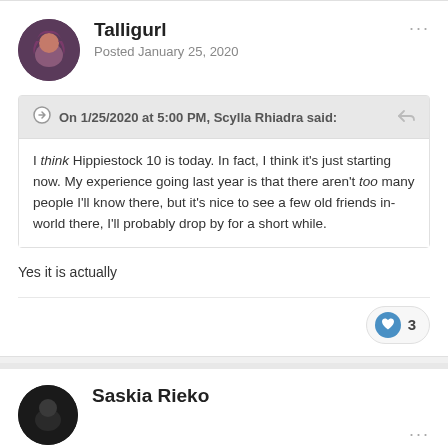Talligurl
Posted January 25, 2020
On 1/25/2020 at 5:00 PM, Scylla Rhiadra said:
I think Hippiestock 10 is today. In fact, I think it's just starting now. My experience going last year is that there aren't too many people I'll know there, but it's nice to see a few old friends in-world there, I'll probably drop by for a short while.
Yes it is actually
3
Saskia Rieko